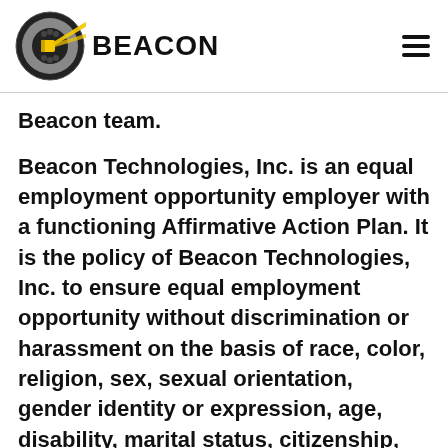BEACON
Beacon team.
Beacon Technologies, Inc. is an equal employment opportunity employer with a functioning Affirmative Action Plan. It is the policy of Beacon Technologies, Inc. to ensure equal employment opportunity without discrimination or harassment on the basis of race, color, religion, sex, sexual orientation, gender identity or expression, age, disability, marital status, citizenship, national origin, genetic information, ethnicity, ancestry, disability, medical condition, military and veteran status, or